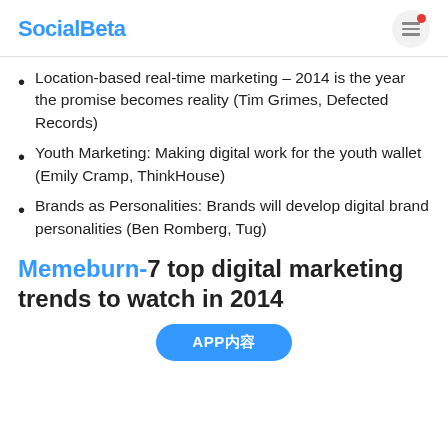SocialBeta
Location-based real-time marketing – 2014 is the year the promise becomes reality (Tim Grimes, Defected Records)
Youth Marketing: Making digital work for the youth wallet (Emily Cramp, ThinkHouse)
Brands as Personalities: Brands will develop digital brand personalities (Ben Romberg, Tug)
Memeburn-7 top digital marketing trends to watch in 2014
APP内容